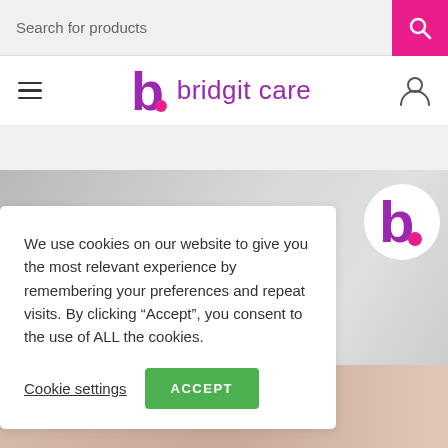Search for products
[Figure (logo): Bridgit Care logo with hamburger menu icon and user icon in navigation bar]
We use cookies on our website to give you the most relevant experience by remembering your preferences and repeat visits. By clicking “Accept”, you consent to the use of ALL the cookies.
Cookie settings  ACCEPT